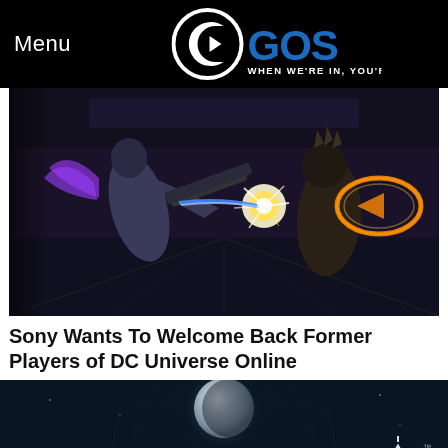Menu | CGOS - WHEN WE'RE IN, YOU'RE IN
[Figure (screenshot): DC Universe Online gameplay screenshot showing two superhero/villain characters fighting with energy weapons and glowing effects in a futuristic interior environment]
Sony Wants To Welcome Back Former Players of DC Universe Online
[Figure (screenshot): Destiny game promotional image showing a glowing white sphere/moon against a dark teal star-field background with the text DESTINY and the game's ghost logo]